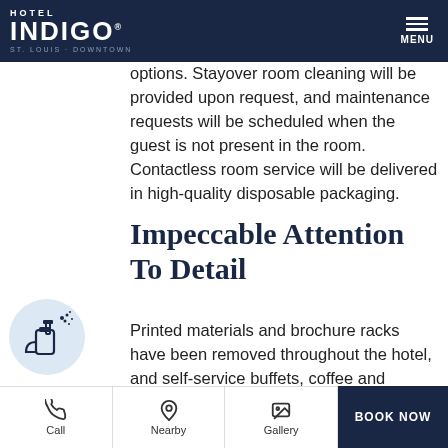HOTEL INDIGO ST. LOUIS - DOWNTOWN
options. Stayover room cleaning will be provided upon request, and maintenance requests will be scheduled when the guest is not present in the room. Contactless room service will be delivered in high-quality disposable packaging.
Impeccable Attention To Detail
Printed materials and brochure racks have been removed throughout the hotel, and self-service buffets, coffee and beverage
[Figure (illustration): Spray bottle icon in light blue circle]
Call | Nearby | Gallery | BOOK NOW